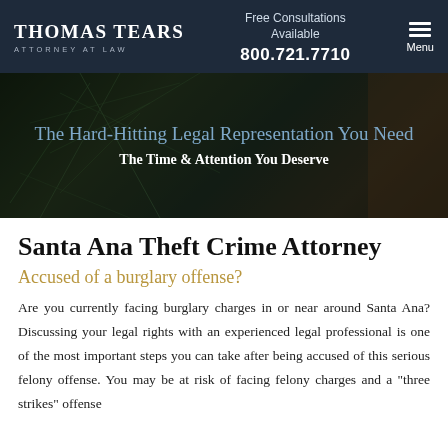THOMAS TEARS ATTORNEY AT LAW | Free Consultations Available | 800.721.7710 | Menu
[Figure (photo): Hero image of broken glass and a door lock with dark overlay and text: 'The Hard-Hitting Legal Representation You Need' and 'The Time & Attention You Deserve']
Santa Ana Theft Crime Attorney
Accused of a burglary offense?
Are you currently facing burglary charges in or near around Santa Ana? Discussing your legal rights with an experienced legal professional is one of the most important steps you can take after being accused of this serious felony offense. You may be at risk of facing felony charges and a "three strikes" offense